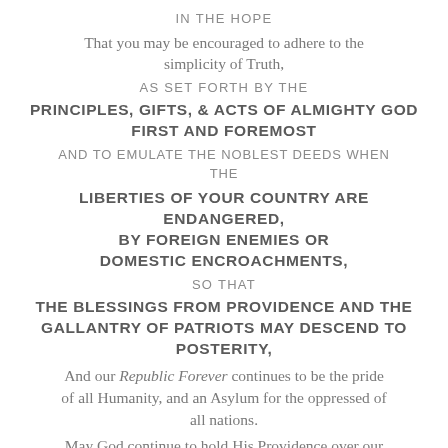IN THE HOPE
That you may be encouraged to adhere to the simplicity of Truth,
AS SET FORTH BY THE
PRINCIPLES, GIFTS, & ACTS OF ALMIGHTY GOD FIRST AND FOREMOST
AND TO EMULATE THE NOBLEST DEEDS WHEN THE
LIBERTIES OF YOUR COUNTRY ARE ENDANGERED, BY FOREIGN ENEMIES OR DOMESTIC ENCROACHMENTS,
SO THAT
THE BLESSINGS FROM PROVIDENCE AND THE GALLANTRY OF PATRIOTS MAY DESCEND TO POSTERITY,
And our Republic Forever continues to be the pride of all Humanity, and an Asylum for the oppressed of all nations.
May God continue to hold His Providence over our